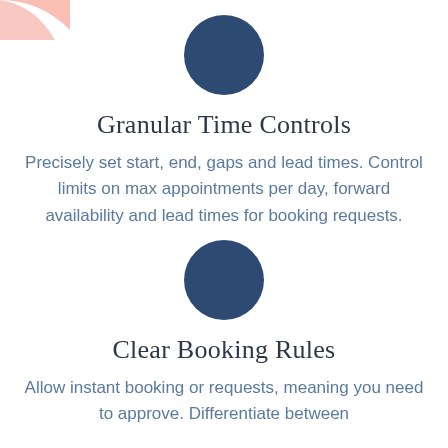[Figure (illustration): Pink decorative arc shape in top-left corner of page]
[Figure (illustration): Dark navy blue filled circle icon centered on page, upper section]
Granular Time Controls
Precisely set start, end, gaps and lead times. Control limits on max appointments per day, forward availability and lead times for booking requests.
[Figure (illustration): Dark navy blue filled circle icon centered on page, lower section]
Clear Booking Rules
Allow instant booking or requests, meaning you need to approve. Differentiate between